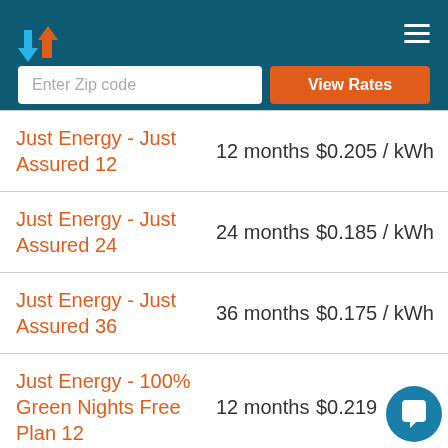[Figure (screenshot): App header with teal background, logo (blue down arrow and orange up arrow), hamburger menu icon, zip code input field, and orange View Rates button]
| Plan Name | Term | Rate |
| --- | --- | --- |
| Just Energy - Just Assured 12 | 12 months | $0.205 / kWh |
| Just Energy - Just Assured 24 | 24 months | $0.185 / kWh |
| Just Energy - Just Assured 36 | 36 months | $0.175 / kWh |
| Just Energy - 100% Green Nights Free Plan 12 | 12 months | $0.219... |